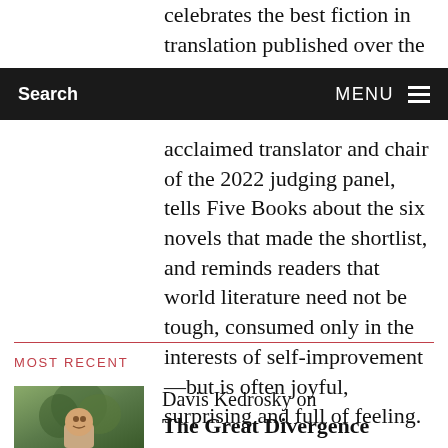celebrates the best fiction in translation published over the
Search  MENU
acclaimed translator and chair of the 2022 judging panel, tells Five Books about the six novels that made the shortlist, and reminds readers that world literature need not be tough, consumed only in the interests of self-improvement—but is often joyful, surprising and full of feeling.
MOST RECENT
Davis Kedrosky on The Great Divergence